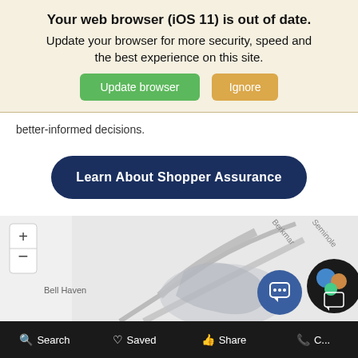Your web browser (iOS 11) is out of date.
Update your browser for more security, speed and the best experience on this site.
Update browser | Ignore
better-informed decisions.
Learn About Shopper Assurance
[Figure (map): Map showing Bell Haven area with street labels Berkmar and Seminole, zoom controls, and interactive chat/avatar overlay buttons]
Search  Saved  Share  Call